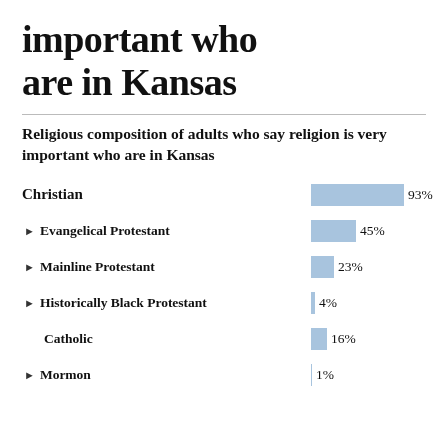important who are in Kansas
Religious composition of adults who say religion is very important who are in Kansas
[Figure (bar-chart): Religious composition of adults who say religion is very important who are in Kansas]